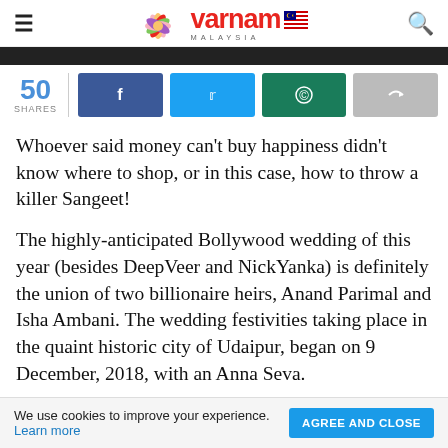Varnam Malaysia
[Figure (photo): Dark image bar at the top of article]
50 SHARES
[Figure (infographic): Social share buttons: Facebook, Twitter, WhatsApp, Share]
Whoever said money can’t buy happiness didn’t know where to shop, or in this case, how to throw a killer Sangeet!
The highly-anticipated Bollywood wedding of this year (besides DeepVeer and NickYanka) is definitely the union of two billionaire heirs, Anand Parimal and Isha Ambani. The wedding festivities taking place in the quaint historic city of Udaipur, began on 9 December, 2018, with an Anna Seva.
We use cookies to improve your experience. Learn more  AGREE AND CLOSE